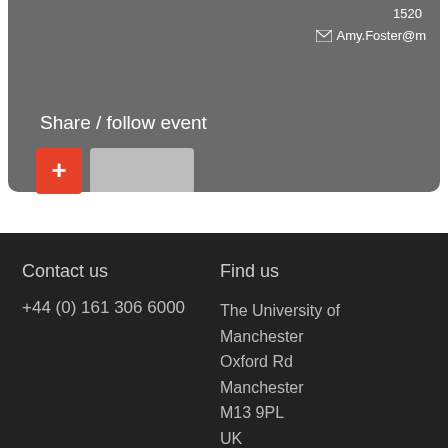1520
Amy.Foster@m
Share / follow event
Contact us
+44 (0) 161 306 6000
Find us
The University of Manchester
Oxford Rd
Manchester
M13 9PL
UK